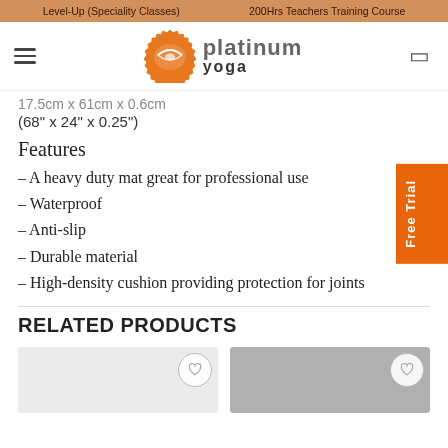Level-Up (Speciality Classes)    200Hrs Teachers Training Course
[Figure (logo): Platinum Yoga logo with orange sunburst badge and hamburger menu]
17.5cm x 61cm x 0.6cm
(68" x 24" x 0.25")
Features
– A heavy duty mat great for professional use
– Waterproof
– Anti-slip
– Durable material
– High-density cushion providing protection for joints
RELATED PRODUCTS
[Figure (photo): Two product thumbnail cards with wishlist heart buttons]